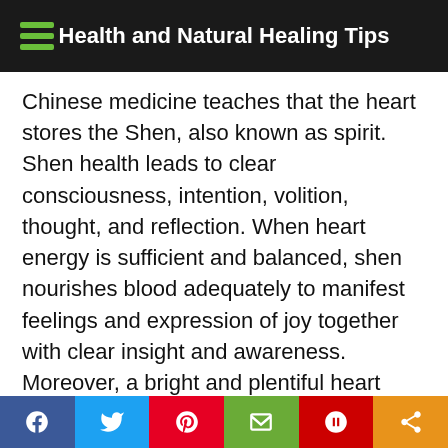Health and Natural Healing Tips
Chinese medicine teaches that the heart stores the Shen, also known as spirit. Shen health leads to clear consciousness, intention, volition, thought, and reflection. When heart energy is sufficient and balanced, shen nourishes blood adequately to manifest feelings and expression of joy together with clear insight and awareness. Moreover, a bright and plentiful heart shen leads to harmonious behavior, interacting with self and others in a respectful, thoughtful, and helpful manner in the appropriate time and